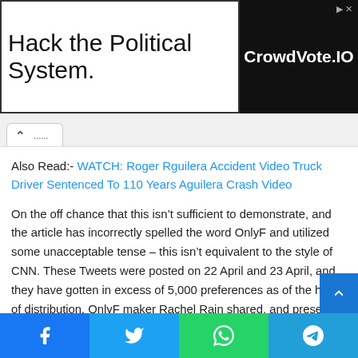[Figure (screenshot): Advertisement banner: 'Hack the Political System.' on white left side, 'CrowdVote.IO' on black right side]
Also Read:- WATCH: Roger Rguilera Accident Video Truck Driver Sentenced To 110 Years Aguilera Crash Video
On the off chance that this isn't sufficient to demonstrate, and the article has incorrectly spelled the word OnlyF and utilized some unacceptable tense – this isn't equivalent to the style of CNN. These Tweets were posted on 22 April and 23 April, and they have gotten in excess of 5,000 preferences as of the hour of distribution. OnlyF maker Rachel Rain shared, and presently has been erased the screen capture on Twitter, in Twitter Showing a discussion with her mom.
Facebook | Twitter | WhatsApp | Telegram